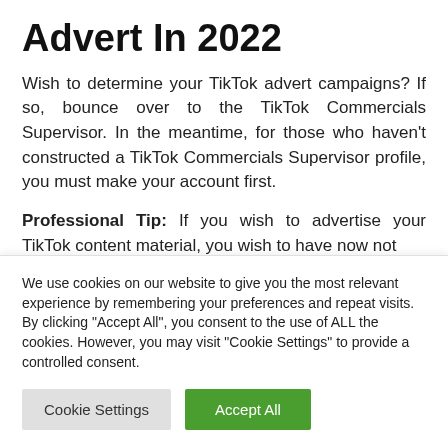Advert In 2022
Wish to determine your TikTok advert campaigns? If so, bounce over to the TikTok Commercials Supervisor. In the meantime, for those who haven't constructed a TikTok Commercials Supervisor profile, you must make your account first.
Professional Tip: If you wish to advertise your TikTok content material, you wish to have now not [a TikTok Commercials Supervisor account]
We use cookies on our website to give you the most relevant experience by remembering your preferences and repeat visits. By clicking "Accept All", you consent to the use of ALL the cookies. However, you may visit "Cookie Settings" to provide a controlled consent.